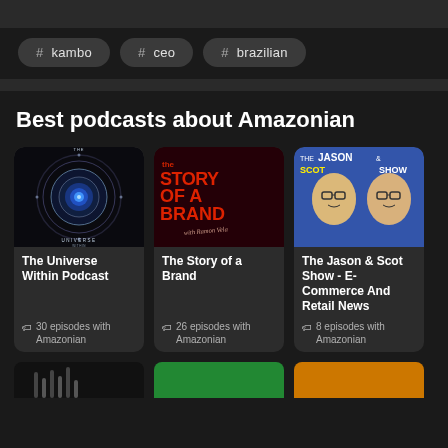# kambo
# ceo
# brazilian
Best podcasts about Amazonian
[Figure (illustration): The Universe Within Podcast cover art — dark background with glowing blue circular cosmic design and text 'THE UNIVERSE WITHIN PODCAST']
The Universe Within Podcast
🏷 30 episodes with Amazonian
[Figure (illustration): The Story of a Brand podcast cover — dark red background with large red bold text 'the STORY OF A BRAND with Ramon Vela']
The Story of a Brand
🏷 26 episodes with Amazonian
[Figure (illustration): The Jason & Scot Show cover art — blue background with cartoon illustrations of two men wearing glasses and text 'THE JASON & SCOT SHOW']
The Jason & Scot Show - E-Commerce And Retail News
🏷 8 episodes with Amazonian